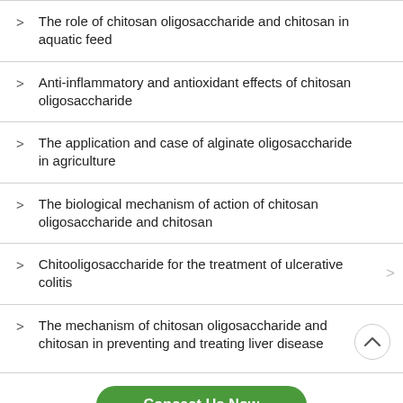The role of chitosan oligosaccharide and chitosan in aquatic feed
Anti-inflammatory and antioxidant effects of chitosan oligosaccharide
The application and case of alginate oligosaccharide in agriculture
The biological mechanism of action of chitosan oligosaccharide and chitosan
Chitooligosaccharide for the treatment of ulcerative colitis
The mechanism of chitosan oligosaccharide and chitosan in preventing and treating liver disease
Concact Us Now